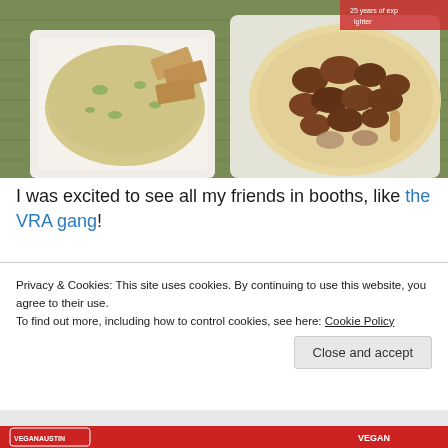[Figure (photo): Overhead photo of two food items on a green burlap background: left side shows a white square tray with a large mound of grain/rice salad with green herbs and crackers; right side shows a flour tortilla with chunks of seasoned cooked meat and mushrooms. Packaged food items visible in upper right corner.]
I was excited to see all my friends in booths, like the VRA gang!
Privacy & Cookies: This site uses cookies. By continuing to use this website, you agree to their use.
To find out more, including how to control cookies, see here: Cookie Policy
[Figure (photo): Bottom strip of a photo showing people at what appears to be an outdoor event or festival, with a Vegan Austin logo visible on the left and Vegan text on the right.]